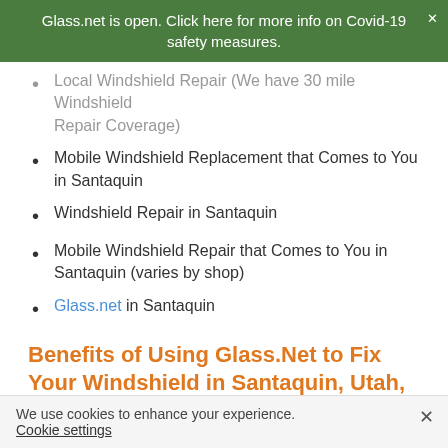Glass.net is open. Click here for more info on Covid-19 safety measures.
Local Windshield Repair (We have 30 mile Windshield Repair Coverage)
Mobile Windshield Replacement that Comes to You in Santaquin
Windshield Repair in Santaquin
Mobile Windshield Repair that Comes to You in Santaquin (varies by shop)
Glass.net in Santaquin
Benefits of Using Glass.Net to Fix Your Windshield in Santaquin, Utah,
Free Santaquin, Utah, auto glass quotes for comparison
We use cookies to enhance your experience. Cookie settings